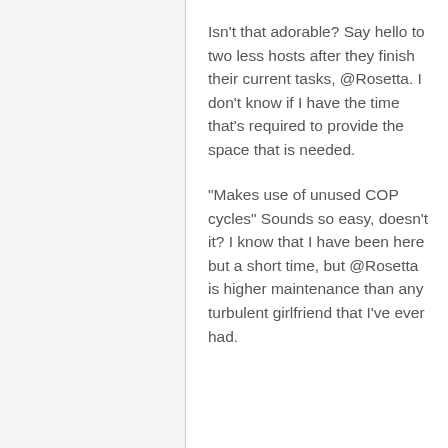Isn't that adorable? Say hello to two less hosts after they finish their current tasks, @Rosetta. I don't know if I have the time that's required to provide the space that is needed.
"Makes use of unused COP cycles" Sounds so easy, doesn't it? I know that I have been here but a short time, but @Rosetta is higher maintenance than any turbulent girlfriend that I've ever had.